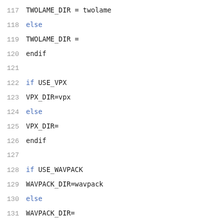117  TWOLAME_DIR = twolame
118  else
119  TWOLAME_DIR =
120  endif
121
122  if USE_VPX
123  VPX_DIR=vpx
124  else
125  VPX_DIR=
126  endif
127
128  if USE_WAVPACK
129  WAVPACK_DIR=wavpack
130  else
131  WAVPACK_DIR=
132  endif
133
134  SUBDIRS = \
135          $(AALIB_DIR) \
136          $(CAIRO_DIR) \
137          $(DV1394_DIR) \